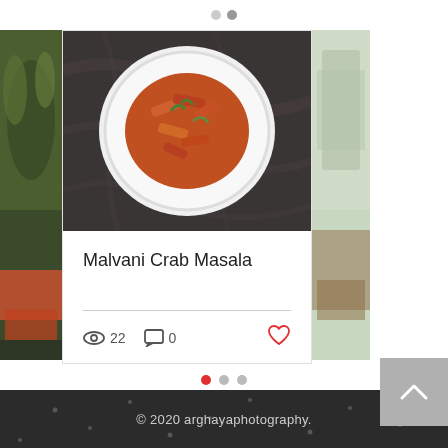[Figure (photo): Food blog carousel showing a dish of Malvani Crab Masala on a white plate against a dark marble background, with partial cards visible on left and right]
Malvani Crab Masala
22 views, 0 comments, 0 likes
© 2020 arghayaphotography.